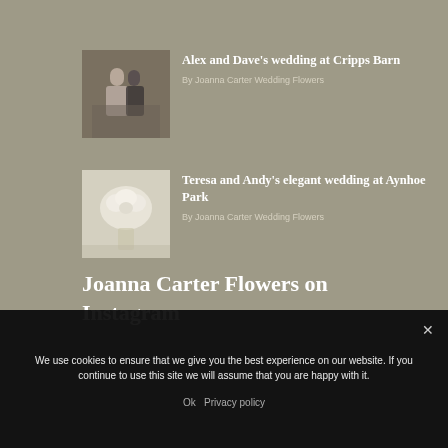[Figure (photo): Wedding photo thumbnail showing couple at Cripps Barn]
Alex and Dave’s wedding at Cripps Barn
By Joanna Carter Wedding Flowers
[Figure (photo): White floral bouquet thumbnail for Aynhoe Park wedding]
Teresa and Andy’s elegant wedding at Aynhoe Park
By Joanna Carter Wedding Flowers
Joanna Carter Flowers on Instagram
We use cookies to ensure that we give you the best experience on our website. If you continue to use this site we will assume that you are happy with it.
Ok   Privacy policy